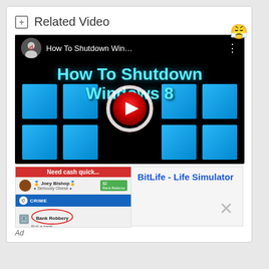Related Video
[Figure (screenshot): YouTube video thumbnail for 'How To Shutdown Windows 8' showing a dark background with Windows 8 logo windows on the sides, a YouTube play button in the center, a channel avatar and title bar at top, and bold cyan text reading 'How To Shutdown Windows 8']
[Figure (screenshot): Advertisement for BitLife - Life Simulator showing a mobile game interface with 'Need cash quick...' text, a character named Joey Bishop, crime menu with Bank Robbery option circled in red, and a bandit emoji]
BitLife - Life Simulator
Ad